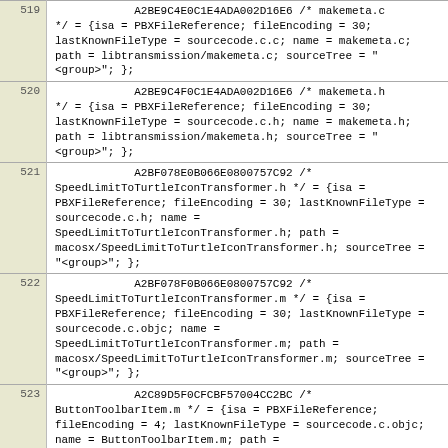| line | code |
| --- | --- |
| 519 | A2BE9C4E0C1E4ADA002D16E6 /* makemeta.c */ = {isa = PBXFileReference; fileEncoding = 30; lastKnownFileType = sourcecode.c.c; name = makemeta.c; path = libtransmission/makemeta.c; sourceTree = "<group>"; }; |
| 520 | A2BE9C4F0C1E4ADA002D16E6 /* makemeta.h */ = {isa = PBXFileReference; fileEncoding = 30; lastKnownFileType = sourcecode.c.h; name = makemeta.h; path = libtransmission/makemeta.h; sourceTree = "<group>"; }; |
| 521 | A2BF078E0B066E0800757C92 /* SpeedLimitToTurtleIconTransformer.h */ = {isa = PBXFileReference; fileEncoding = 30; lastKnownFileType = sourcecode.c.h; name = SpeedLimitToTurtleIconTransformer.h; path = macosx/SpeedLimitToTurtleIconTransformer.h; sourceTree = "<group>"; }; |
| 522 | A2BF078F0B066E0800757C92 /* SpeedLimitToTurtleIconTransformer.m */ = {isa = PBXFileReference; fileEncoding = 30; lastKnownFileType = sourcecode.c.objc; name = SpeedLimitToTurtleIconTransformer.m; path = macosx/SpeedLimitToTurtleIconTransformer.m; sourceTree = "<group>"; }; |
| 523 | A2C89D5F0CFCBF57004CC2BC /* ButtonToolbarItem.m */ = {isa = PBXFileReference; fileEncoding = 4; lastKnownFileType = sourcecode.c.objc; name = ButtonToolbarItem.m; path = macosx/ButtonToolbarItem.m; sourceTree = "<group>"; }; |
| 524 | A2D0E0480A54A97C003C72CF /* Bandwidth.png */ = {isa = PBXFileReference; lastKnownFileType = image.png; name = Bandwidth.png; path = macosx/Images/Bandwidth.png; sourceTree = "<group>"; }; |
| 525 | A2D688850CB4984B009BEC3A /* English */ = {isa = PBXFileReference; lastKnownFileType = |